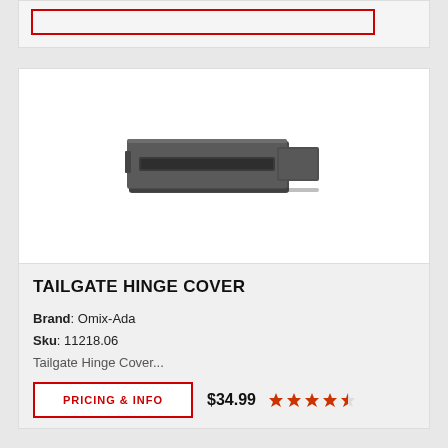[Figure (other): Partial view of a previous product card with a red-bordered button at top]
[Figure (photo): Product photo of a dark metal tailgate hinge cover on white background]
TAILGATE HINGE COVER
Brand: Omix-Ada
Sku: 11218.06
Tailgate Hinge Cover...
PRICING & INFO
$34.99
[Figure (other): 4.5 star rating shown with orange/red star icons]